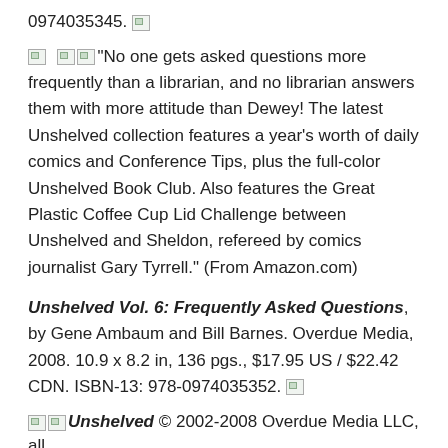0974035345.
"No one gets asked questions more frequently than a librarian, and no librarian answers them with more attitude than Dewey! The latest Unshelved collection features a year’s worth of daily comics and Conference Tips, plus the full-color Unshelved Book Club. Also features the Great Plastic Coffee Cup Lid Challenge between Unshelved and Sheldon, refereed by comics journalist Gary Tyrrell." (From Amazon.com)
Unshelved Vol. 6: Frequently Asked Questions, by Gene Ambaum and Bill Barnes. Overdue Media, 2008. 10.9 x 8.2 in, 136 pgs., $17.95 US / $22.42 CDN. ISBN-13: 978-0974035352.
Unshelved © 2002-2008 Overdue Media LLC, all